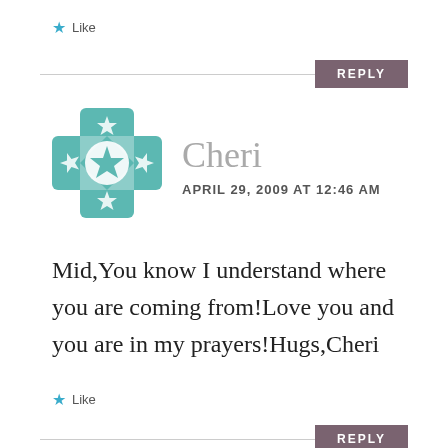Like
REPLY
[Figure (logo): Teal/turquoise decorative cross/quilt pattern avatar icon for commenter Cheri]
Cheri
APRIL 29, 2009 AT 12:46 AM
Mid,You know I understand where you are coming from!Love you and you are in my prayers!Hugs,Cheri
Like
REPLY